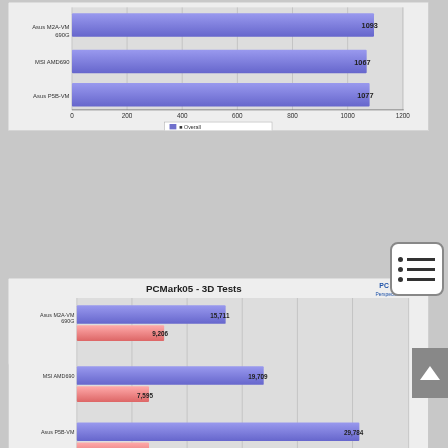[Figure (bar-chart): Overall Score (unlabeled top chart)]
[Figure (grouped-bar-chart): PCMark05 - 3D Tests]